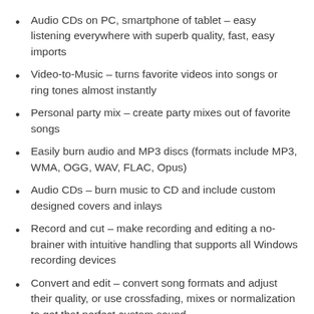Audio CDs on PC, smartphone of tablet – easy listening everywhere with superb quality, fast, easy imports
Video-to-Music – turns favorite videos into songs or ring tones almost instantly
Personal party mix – create party mixes out of favorite songs
Easily burn audio and MP3 discs (formats include MP3, WMA, OGG, WAV, FLAC, Opus)
Audio CDs – burn music to CD and include custom designed covers and inlays
Record and cut – make recording and editing a no-brainer with intuitive handling that supports all Windows recording devices
Convert and edit – convert song formats and adjust their quality, or use crossfading, mixes or normalization to get that perfect custom sound
Edit tags, update covers – update and organize essential song data such as artist, album, and title with an integrated tag editor and cover search